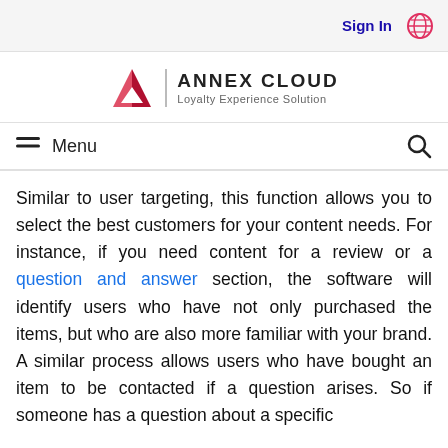Sign In  [globe icon]
[Figure (logo): Annex Cloud logo with triangle/mountain icon, text 'ANNEX CLOUD' and subtitle 'Loyalty Experience Solution']
≡ Menu  [search icon]
Similar to user targeting, this function allows you to select the best customers for your content needs. For instance, if you need content for a review or a question and answer section, the software will identify users who have not only purchased the items, but who are also more familiar with your brand. A similar process allows users who have bought an item to be contacted if a question arises. So if someone has a question about a specific